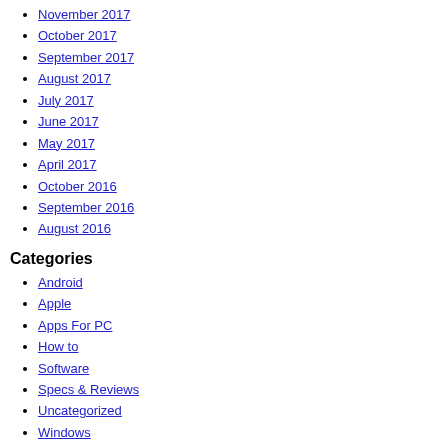November 2017
October 2017
September 2017
August 2017
July 2017
June 2017
May 2017
April 2017
October 2016
September 2016
August 2016
Categories
Android
Apple
Apps For PC
How to
Software
Specs & Reviews
Uncategorized
Windows
© Copyright 2022, All Rights Reserved